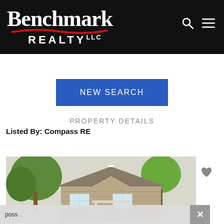[Figure (logo): Benchmark Realty LLC logo on black background with red swoosh, with search and menu icons]
NEW SEARCH
PROPERTY DETAILS
Listed By: Compass RE
[Figure (photo): Exterior photo of a residential house with tan/beige siding, a covered entry, and large trees in front]
poss...